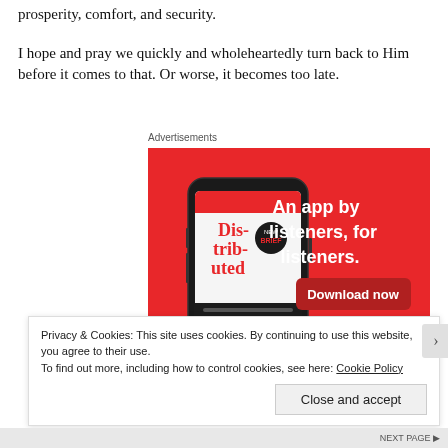prosperity, comfort, and security.
I hope and pray we quickly and wholeheartedly turn back to Him before it comes to that. Or worse, it becomes too late.
Advertisements
[Figure (screenshot): Advertisement banner showing a smartphone with a podcast app on a red background. Text reads: 'An app by listeners, for listeners.' with a 'Download now' button. The phone screen shows 'Dis-trib-uted' podcast branding.]
Privacy & Cookies: This site uses cookies. By continuing to use this website, you agree to their use.
To find out more, including how to control cookies, see here: Cookie Policy
Close and accept